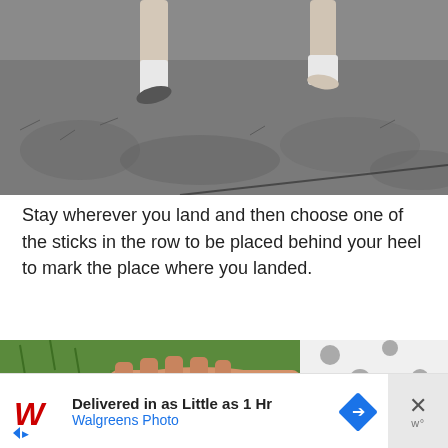[Figure (photo): Black and white photo of a child's legs mid-jump or landing on grass, with a stick or line visible on the ground]
Stay wherever you land and then choose one of the sticks in the row to be placed behind your heel to mark the place where you landed.
[Figure (photo): Color photo showing a child's hand touching the grass next to a white garment with gray polka dots, standing on green grass]
[Figure (other): Advertisement banner: Walgreens Photo — Delivered in as Little as 1 Hr]